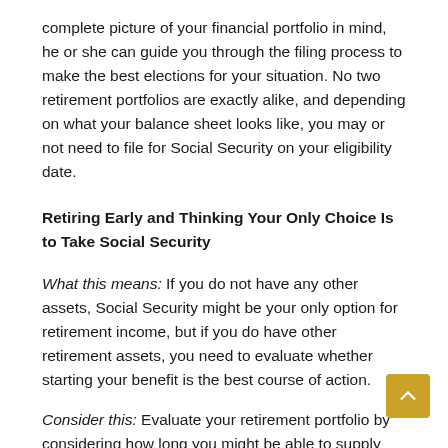complete picture of your financial portfolio in mind, he or she can guide you through the filing process to make the best elections for your situation. No two retirement portfolios are exactly alike, and depending on what your balance sheet looks like, you may or not need to file for Social Security on your eligibility date.
Retiring Early and Thinking Your Only Choice Is to Take Social Security
What this means: If you do not have any other assets, Social Security might be your only option for retirement income, but if you do have other retirement assets, you need to evaluate whether starting your benefit is the best course of action.
Consider this: Evaluate your retirement portfolio by considering how long you might be able to supply income without Social Security. For every year you delay your Social Security Benefit past your full retirement age, you earn Delayed Retirement Credits at